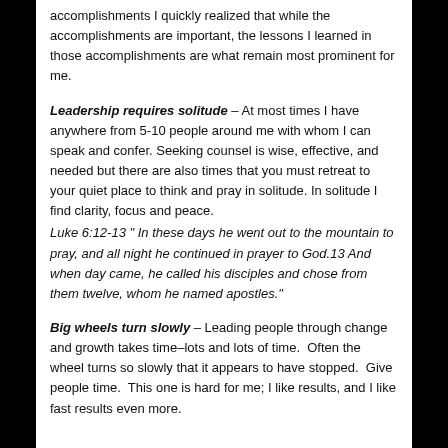accomplishments I quickly realized that while the accomplishments are important, the lessons I learned in those accomplishments are what remain most prominent for me.
Leadership requires solitude – At most times I have anywhere from 5-10 people around me with whom I can speak and confer. Seeking counsel is wise, effective, and needed but there are also times that you must retreat to your quiet place to think and pray in solitude. In solitude I find clarity, focus and peace.
Luke 6:12-13 " In these days he went out to the mountain to pray, and all night he continued in prayer to God.13 And when day came, he called his disciples and chose from them twelve, whom he named apostles."
Big wheels turn slowly – Leading people through change and growth takes time–lots and lots of time.  Often the wheel turns so slowly that it appears to have stopped.  Give people time.  This one is hard for me; I like results, and I like fast results even more.